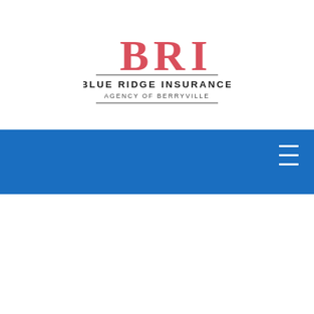[Figure (logo): Blue Ridge Insurance Agency of Berryville logo with stylized BRI letters in red/pink above text BLUE RIDGE INSURANCE AGENCY OF BERRYVILLE with horizontal rules]
[Figure (other): Blue navigation bar spanning full width with a white hamburger menu icon in the top right corner]